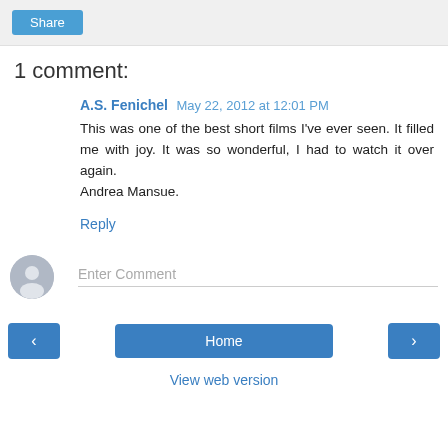[Figure (other): Share button in gray toolbar at top]
1 comment:
A.S. Fenichel  May 22, 2012 at 12:01 PM
This was one of the best short films I've ever seen. It filled me with joy. It was so wonderful, I had to watch it over again.
Andrea Mansue.
Reply
[Figure (other): Avatar icon and Enter Comment input field]
[Figure (other): Navigation buttons: left arrow, Home, right arrow]
View web version